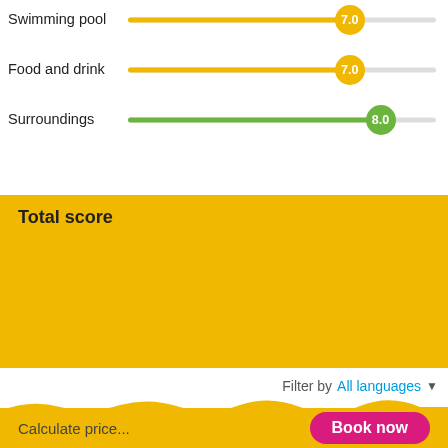[Figure (infographic): Rating bars for Swimming pool (7.0, yellow), Food and drink (7.0, yellow), Surroundings (8.0, green) with circular score bubbles on horizontal tracks]
Total score
[Figure (infographic): Blue speech bubble containing score 7.8 on yellow background]
Filter by All languages
Calculate price...
Book now